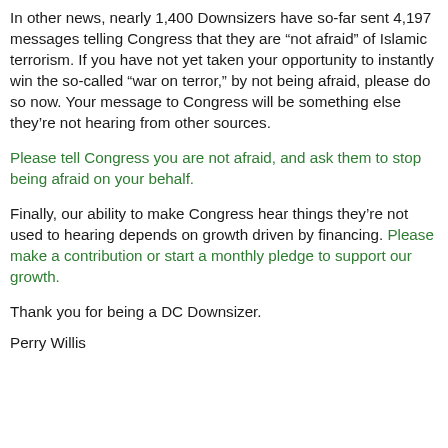In other news, nearly 1,400 Downsizers have so-far sent 4,197 messages telling Congress that they are “not afraid” of Islamic terrorism. If you have not yet taken your opportunity to instantly win the so-called “war on terror,” by not being afraid, please do so now. Your message to Congress will be something else they’re not hearing from other sources.
Please tell Congress you are not afraid, and ask them to stop being afraid on your behalf.
Finally, our ability to make Congress hear things they’re not used to hearing depends on growth driven by financing. Please make a contribution or start a monthly pledge to support our growth.
Thank you for being a DC Downsizer.
Perry Willis